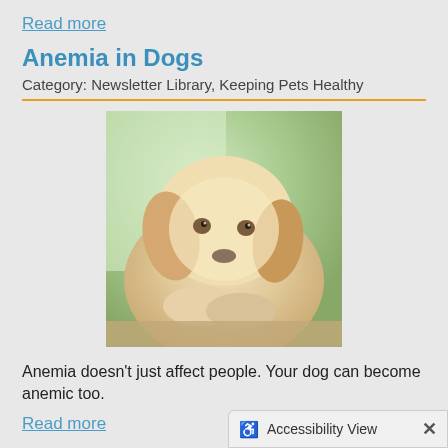Read more
Anemia in Dogs
Category: Newsletter Library, Keeping Pets Healthy
[Figure (photo): A light-colored golden/white puppy resting its head and paws on a surface, looking sad or tired, with a blurred green background.]
Anemia doesn't just affect people. Your dog can become anemic too.
Read more
How to Treat Common Paw Problems in Dogs
Category: Newsletter Library, Keeping Pets Healthy
[Figure (photo): Close-up photo of dark-colored dog paws, partially visible at the bottom of the page.]